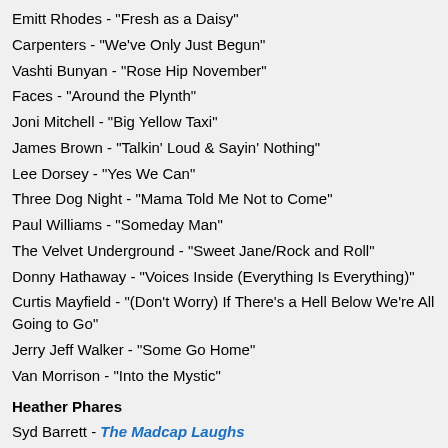Emitt Rhodes - "Fresh as a Daisy"
Carpenters - "We've Only Just Begun"
Vashti Bunyan - "Rose Hip November"
Faces - "Around the Plynth"
Joni Mitchell - "Big Yellow Taxi"
James Brown - "Talkin' Loud & Sayin' Nothing"
Lee Dorsey - "Yes We Can"
Three Dog Night - "Mama Told Me Not to Come"
Paul Williams - "Someday Man"
The Velvet Underground - "Sweet Jane/Rock and Roll"
Donny Hathaway - "Voices Inside (Everything Is Everything)"
Curtis Mayfield - "(Don't Worry) If There's a Hell Below We're All Going to Go"
Jerry Jeff Walker - "Some Go Home"
Van Morrison - "Into the Mystic"
Heather Phares
Syd Barrett - The Madcap Laughs
The Beatles - Let It Be
Black Sabbath - Paranoid
David Bowie - The Man Who Sold the World